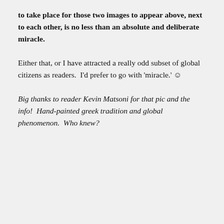to take place for those two images to appear above, next to each other, is no less than an absolute and deliberate miracle.
Either that, or I have attracted a really odd subset of global citizens as readers.  I'd prefer to go with 'miracle.' 🙂
Big thanks to reader Kevin Matsoni for that pic and the info!  Hand-painted greek tradition and global phenomenon.  Who knew?